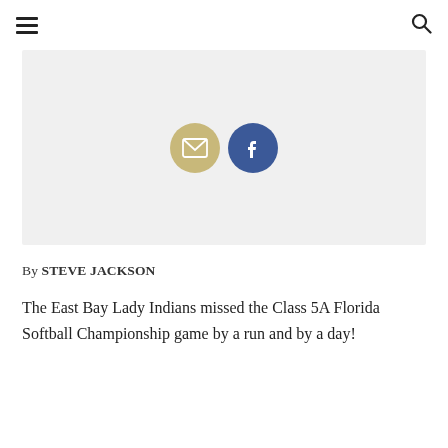navigation header with hamburger menu and search icon
[Figure (illustration): Light gray image placeholder area with email (gold/tan circle with envelope icon) and Facebook (blue circle with 'f' icon) social sharing buttons centered in the lower portion of the placeholder.]
By STEVE JACKSON
The East Bay Lady Indians missed the Class 5A Florida Softball Championship game by a run and by a day!